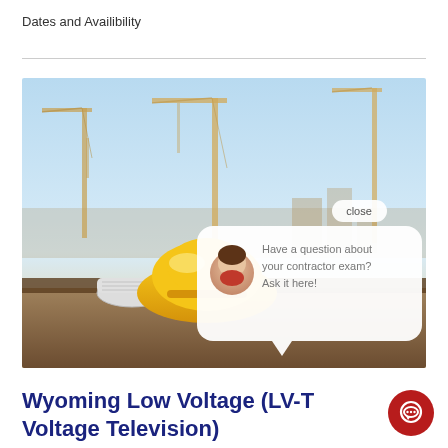Dates and Availibility
[Figure (photo): Construction site photo showing yellow hard hat, rolled blueprints, and construction cranes in the background with a chat popup overlay asking 'Have a question about your contractor exam? Ask it here!']
Wyoming Low Voltage (LV-T Voltage Television)